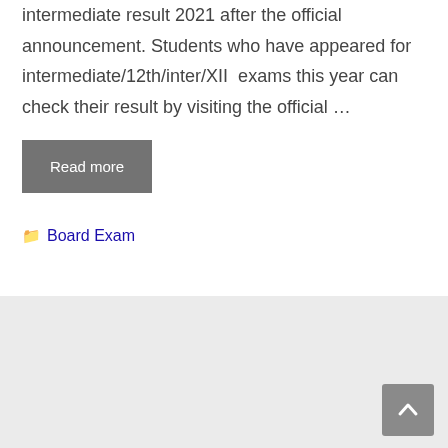intermediate result 2021 after the official announcement. Students who have appeared for intermediate/12th/inter/XII exams this year can check their result by visiting the official …
Read more
Board Exam